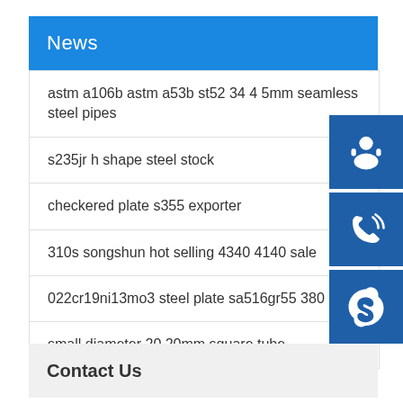News
astm a106b astm a53b st52 34 4 5mm seamless steel pipes
s235jr h shape steel stock
checkered plate s355 exporter
310s songshun hot selling 4340 4140 sale
022cr19ni13mo3 steel plate sa516gr55 380
small diameter 20 20mm square tube
[Figure (illustration): Three blue icon buttons on the right side: customer service headset icon, phone/call icon, and Skype icon]
Contact Us